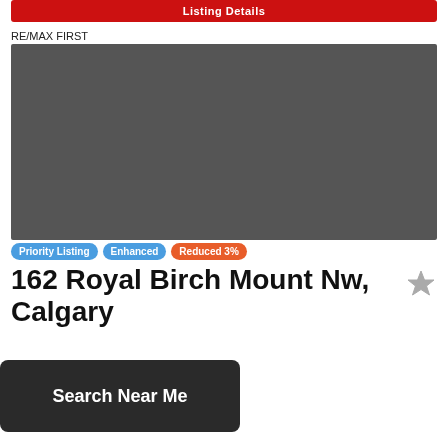Listing Details
RE/MAX FIRST
[Figure (photo): Property listing photo placeholder, grey rectangle]
Priority Listing   Enhanced   Reduced 3%
162 Royal Birch Mount Nw, Calgary
eds, 2 Baths, 1,158 Sf
$350,000
Search Near Me